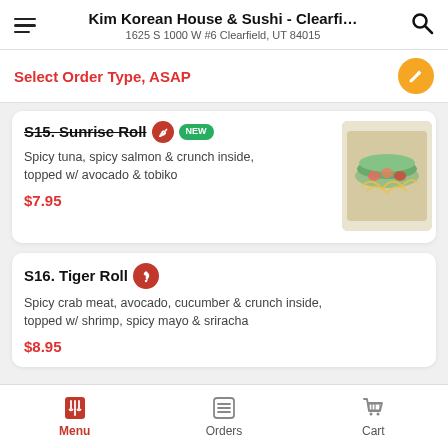Kim Korean House & Sushi - Clearfi...
1625 S 1000 W #6 Clearfield, UT 84015
Select Order Type, ASAP
S15. Sunrise Roll
Spicy tuna, spicy salmon & crunch inside, topped w/ avocado & tobiko
$7.95
S16. Tiger Roll
Spicy crab meat, avocado, cucumber & crunch inside, topped w/ shrimp, spicy mayo & sriracha
$8.95
Menu  Orders  Cart